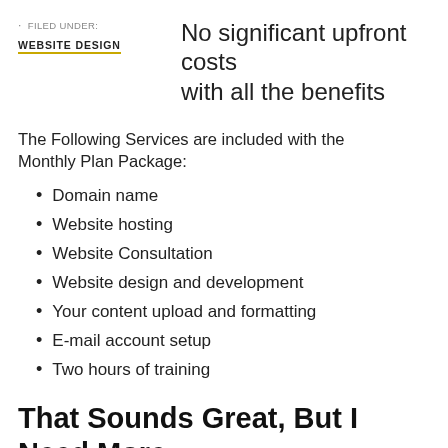FILED UNDER: WEBSITE DESIGN
No significant upfront costs with all the benefits
The Following Services are included with the Monthly Plan Package:
Domain name
Website hosting
Website Consultation
Website design and development
Your content upload and formatting
E-mail account setup
Two hours of training
That Sounds Great, But I Need More